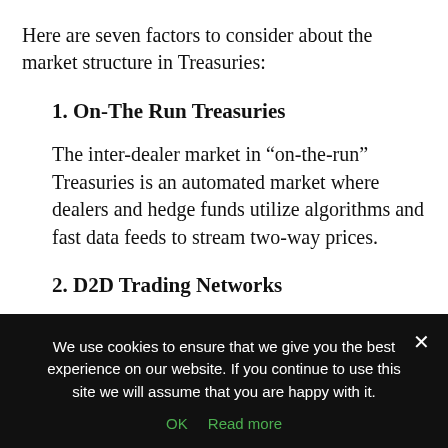Here are seven factors to consider about the market structure in Treasuries:
1. On-The Run Treasuries
The inter-dealer market in “on-the-run” Treasuries is an automated market where dealers and hedge funds utilize algorithms and fast data feeds to stream two-way prices.
2. D2D Trading Networks
The main networks for bond trading by dealers
We use cookies to ensure that we give you the best experience on our website. If you continue to use this site we will assume that you are happy with it.
OK   Read more